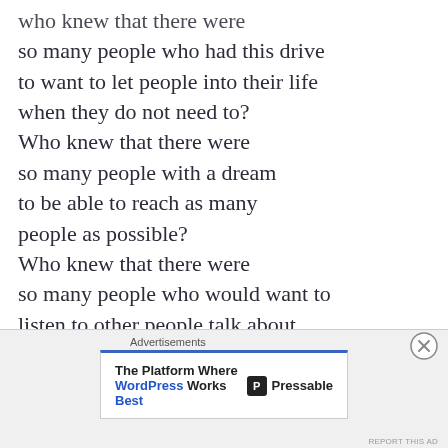who knew that there were so many people who had this drive to want to let people into their life when they do not need to? Who knew that there were so many people with a dream to be able to reach as many people as possible? Who knew that there were so many people who would want to listen to other people talk about what interests them and what inspires them?

I have always known that I liked
[Figure (screenshot): Advertisement banner: 'The Platform Where WordPress Works Best' — Pressable logo. Close button (X) visible.]